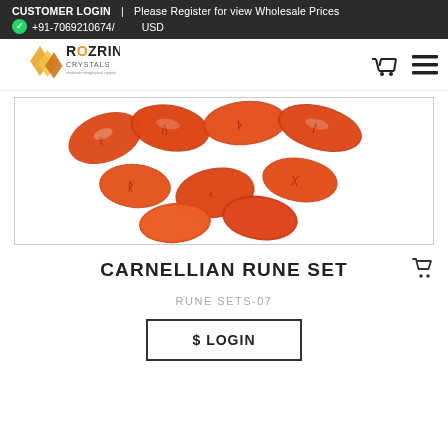CUSTOMER LOGIN  |  Please Register for view Wholesale Prices
+91-7069210674/   USD
[Figure (logo): Rozrin Crystals logo with orange crystal graphic]
[Figure (photo): Photo of carnelian rune stones with engraved symbols, orange/red colored oval stones on white background]
CARNELLIAN RUNE SET
RUNE SETS-07
$ LOGIN